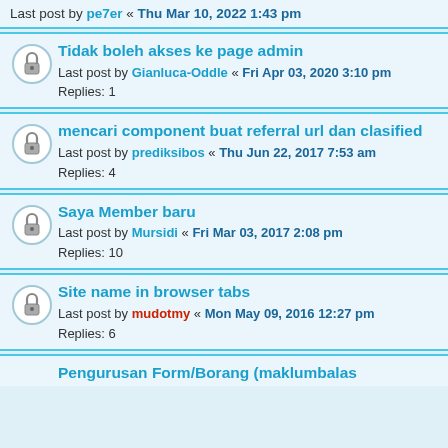Last post by pe7er « Thu Mar 10, 2022 1:43 pm
Tidak boleh akses ke page admin
Last post by Gianluca-Oddle « Fri Apr 03, 2020 3:10 pm
Replies: 1
mencari component buat referral url dan clasified
Last post by prediksibos « Thu Jun 22, 2017 7:53 am
Replies: 4
Saya Member baru
Last post by Mursidi « Fri Mar 03, 2017 2:08 pm
Replies: 10
Site name in browser tabs
Last post by mudotmy « Mon May 09, 2016 12:27 pm
Replies: 6
Pengurusan Form/Borang (maklumbalas